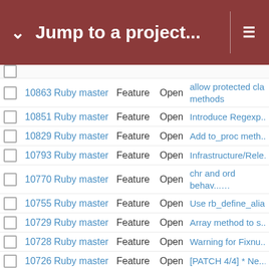Jump to a project...
|  | # | Project | Type | Status | Subject |
| --- | --- | --- | --- | --- | --- |
|  | 10863 | Ruby master | Feature | Open | allow protected class methods |
|  | 10851 | Ruby master | Feature | Open | Introduce Regexp... |
|  | 10829 | Ruby master | Feature | Open | Add to_proc meth... |
|  | 10793 | Ruby master | Feature | Open | Infrastructure/Rel... |
|  | 10770 | Ruby master | Feature | Open | chr and ord behav... code points |
|  | 10755 | Ruby master | Feature | Open | Use rb_define_ali... |
|  | 10729 | Ruby master | Feature | Open | Array method to s... |
|  | 10728 | Ruby master | Feature | Open | Warning for Fixnu... |
|  | 10726 | Ruby master | Feature | Open | [PATCH 4/4] * Ne... |
|  | 10701 | Ruby master | Feature | Open | Class:Array 2 Ne... |
|  | 10683 | Ruby master | Feature | Open | fix inconsistent be... |
|  | 10663 | Ruby master | Feature | Open | Consider adding s... |
|  | 10658 | Ruby master | Feature | Open | ThreadGroup loca... |
|  | 10645 | Ruby master | Feature | Open | Consider adding s... MatchData[0] |
|  | 10634 | Ruby master | Feature | Open | Baselining with Be... |
|  | 10602 | Ruby master | Feature | Open | Support multithrea... |
|  | ... | ... | ... | ... | [TracePoint API] N... |